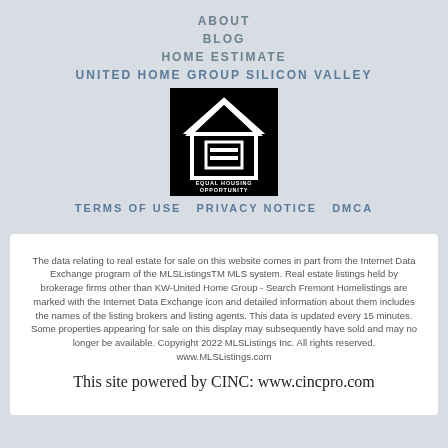ABOUT
BLOG
HOME ESTIMATE
UNITED HOME GROUP SILICON VALLEY
[Figure (logo): Equal Housing Opportunity logo — white house icon with equals sign on black background, text reading EQUAL HOUSING OPPORTUNITY]
TERMS OF USE  PRIVACY NOTICE  DMCA
The data relating to real estate for sale on this website comes in part from the Internet Data Exchange program of the MLSListingsTM MLS system. Real estate listings held by brokerage firms other than KW-United Home Group - Search Fremont Homelistings are marked with the Internet Data Exchange icon and detailed information about them includes the names of the listing brokers and listing agents. This data is updated every 15 minutes. Some properties appearing for sale on this display may subsequently have sold and may no longer be available. Copyright 2022 MLSListings Inc. All rights reserved. www.MLSListings.com
This site powered by CINC: www.cincpro.com